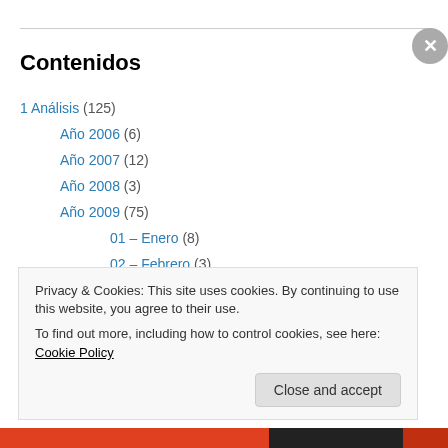Contenidos
1 Análisis (125)
Año 2006 (6)
Año 2007 (12)
Año 2008 (3)
Año 2009 (75)
01 – Enero (8)
02 – Febrero (3)
03 – Marzo (13)
04 – Abril (11)
Privacy & Cookies: This site uses cookies. By continuing to use this website, you agree to their use. To find out more, including how to control cookies, see here: Cookie Policy
Close and accept